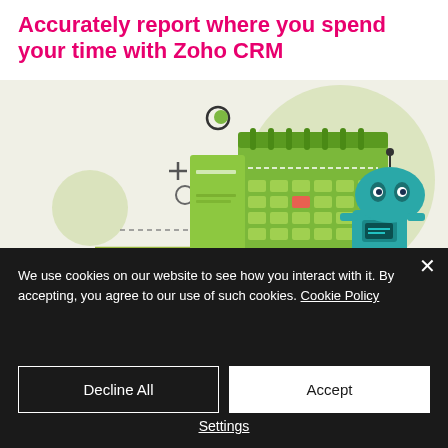Accurately report where you spend your time with Zoho CRM
[Figure (illustration): Illustration of a green calendar/planner and a teal robot character on a light olive/cream background with decorative geometric shapes (circle, plus sign, rings, dashed lines)]
We use cookies on our website to see how you interact with it. By accepting, you agree to our use of such cookies. Cookie Policy
Decline All
Accept
Settings